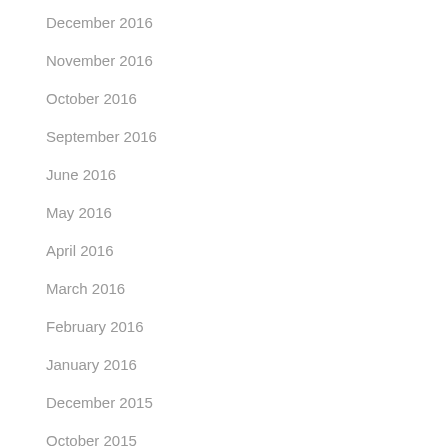December 2016
November 2016
October 2016
September 2016
June 2016
May 2016
April 2016
March 2016
February 2016
January 2016
December 2015
October 2015
September 2015
June 2015
May 2015